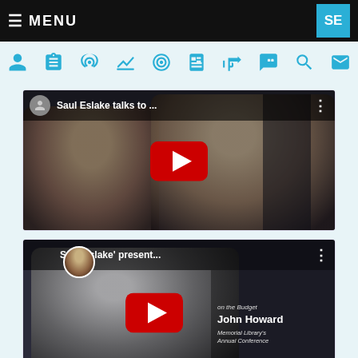≡ MENU   SE
[Figure (screenshot): Navigation icon bar with user, list, radio/signal, chart, target, book, megaphone, quote, search, and envelope icons in blue/teal color on light blue background]
[Figure (screenshot): YouTube video thumbnail showing 'Saul Eslake talks to ...' with two men's faces and a YouTube play button]
[Figure (screenshot): YouTube video thumbnail showing 'Saul Eslake' present...' with man in suit and text overlay referencing Budget, John Howard, Memorial Library's Annual Conference, and a YouTube play button]
[Figure (screenshot): Partial YouTube video thumbnail peek at bottom showing beginning of third video card]